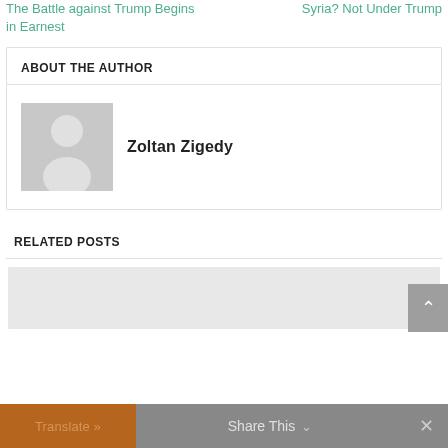The Battle against Trump Begins in Earnest
Syria? Not Under Trump
ABOUT THE AUTHOR
[Figure (illustration): Generic grey placeholder avatar of a person silhouette]
Zoltan Zigedy
RELATED POSTS
[Figure (photo): Grey placeholder image for a related post]
Translate »
Share This
×